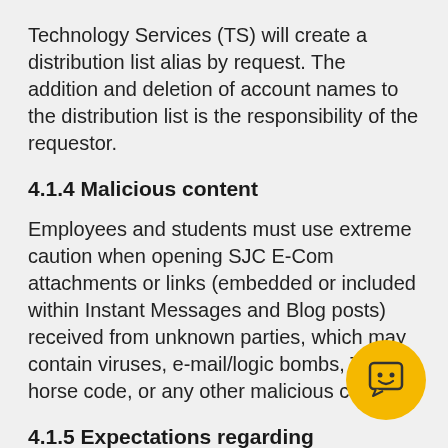Technology Services (TS) will create a distribution list alias by request. The addition and deletion of account names to the distribution list is the responsibility of the requestor.
4.1.4 Malicious content
Employees and students must use extreme caution when opening SJC E-Com attachments or links (embedded or included within Instant Messages and Blog posts) received from unknown parties, which may contain viruses, e-mail/logic bombs, Trojan horse code, or any other malicious content.
4.1.5 Expectations regarding timeliness of e-mail use
Employees and students are expected to check their official e-mail address on a frequent and consistent